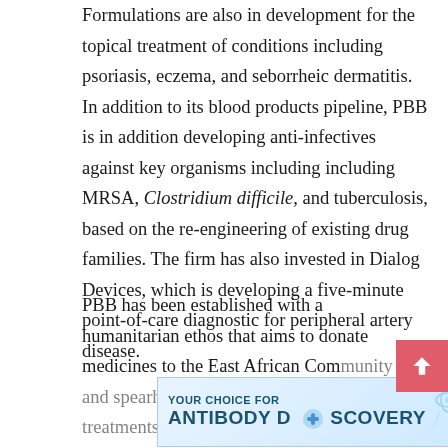Formulations are also in development for the topical treatment of conditions including psoriasis, eczema, and seborrheic dermatitis. In addition to its blood products pipeline, PBB is in addition developing anti-infectives against key organisms including including MRSA, Clostridium difficile, and tuberculosis, based on the re-engineering of existing drug families. The firm has also invested in Dialog Devices, which is developing a five-minute point-of-care diagnostic for peripheral artery disease.
PBB has been established with a humanitarian ethos that aims to donate medicines to the East African Com[munity and spearhead res]earch to the dev[elopment of treatments for some of the most
[Figure (other): Advertisement banner for antibody discovery services. Text reads: 'YOUR CHOICE FOR ANTIBODY DISCOVERY' with WuXi Biologics logo and close button.]